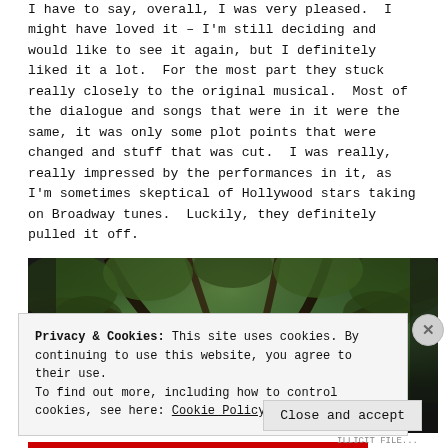I have to say, overall, I was very pleased.  I might have loved it – I'm still deciding and would like to see it again, but I definitely liked it a lot.  For the most part they stuck really closely to the original musical.  Most of the dialogue and songs that were in it were the same, it was only some plot points that were changed and stuff that was cut.  I was really, really impressed by the performances in it, as I'm sometimes skeptical of Hollywood stars taking on Broadway tunes.  Luckily, they definitely pulled it off.
[Figure (photo): Photograph of twisted tree branches with dark foliage seen from below, with a small glimpse of sky or water visible through the canopy.]
Privacy & Cookies: This site uses cookies. By continuing to use this website, you agree to their use.
To find out more, including how to control cookies, see here: Cookie Policy
Close and accept